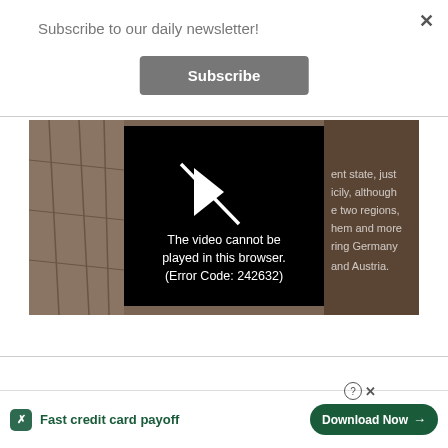Subscribe to our daily newsletter!
Subscribe
[Figure (screenshot): Video player showing stone pavement background with a black overlay box displaying a play icon and error message: 'The video cannot be played in this browser. (Error Code: 242632)'. Right side shows partial white text: 'ent state, just icily, although e two regions, hem and more ring Germany and Austria.']
[Figure (other): Advertisement bar for Tally app: green Tally logo icon, text 'Fast credit card payoff', and a 'Download Now' button with arrow on the right. Also shows a help circle icon and X close icon.]